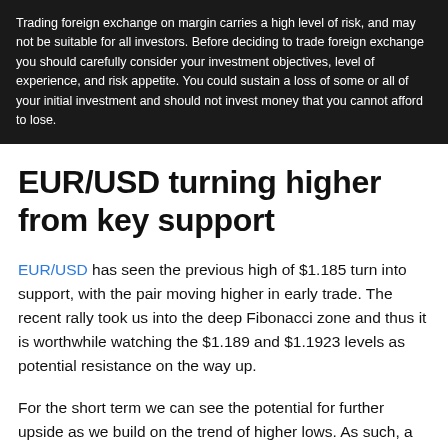Trading foreign exchange on margin carries a high level of risk, and may not be suitable for all investors. Before deciding to trade foreign exchange you should carefully consider your investment objectives, level of experience, and risk appetite. You could sustain a loss of some or all of your initial investment and should not invest money that you cannot afford to lose.
EUR/USD turning higher from key support
EUR/USD has seen the previous high of $1.185 turn into support, with the pair moving higher in early trade. The recent rally took us into the deep Fibonacci zone and thus it is worthwhile watching the $1.189 and $1.1923 levels as potential resistance on the way up.
For the short term we can see the potential for further upside as we build on the trend of higher lows. As such, a positive outlook holds unless the price falls back below the $1.185 support level.